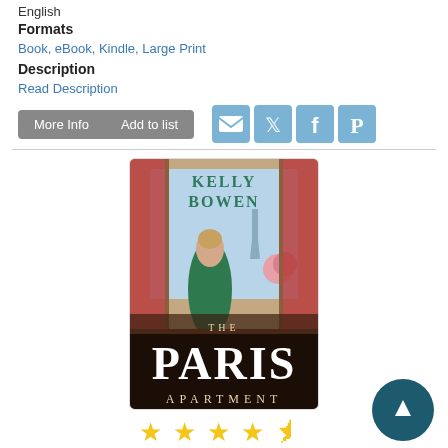English
Formats
Book, eBook, Kindle, Large Print
Description
Read Description
[Figure (screenshot): Buttons: More Info, Add to list, and social share icons (email, Twitter, Facebook, Pinterest)]
[Figure (illustration): Book cover for 'The Paris Apartment' by Kelly Bowen showing a woman in green dress at a window overlooking Paris with the Eiffel Tower in the background]
[Figure (other): Star rating: 4.5 out of 5 stars]
18)  The Paris apartment
Author